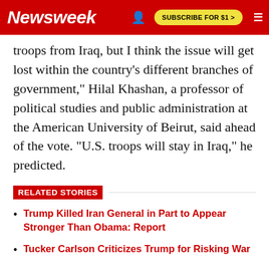Newsweek | SUBSCRIBE FOR $1 >
troops from Iraq, but I think the issue will get lost within the country's different branches of government," Hilal Khashan, a professor of political studies and public administration at the American University of Beirut, said ahead of the vote. "U.S. troops will stay in Iraq," he predicted.
RELATED STORIES
Trump Killed Iran General in Part to Appear Stronger Than Obama: Report
Tucker Carlson Criticizes Trump for Risking War